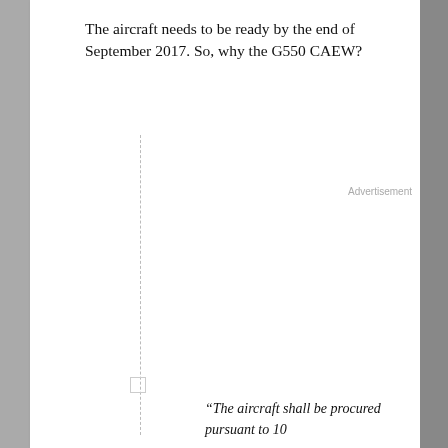The aircraft needs to be ready by the end of September 2017. So, why the G550 CAEW?
Advertisement
“The aircraft shall be procured pursuant to 10